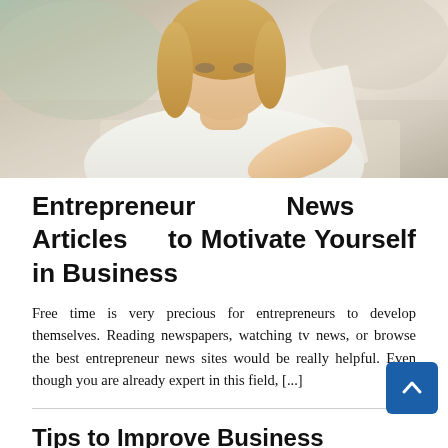[Figure (photo): A woman with blonde hair wearing a white polo shirt, leaning over and reading/reviewing documents or papers, shot from above at an angle, blurred office background.]
Entrepreneur News Articles to Motivate Yourself in Business
Free time is very precious for entrepreneurs to develop themselves. Reading newspapers, watching tv news, or browse the best entrepreneur news sites would be really helpful. Even though you are already expert in this field, [...]
Tips to Improve Business Opportunity who Want to Start Own Business in 2019
Process is something we need to be patient about in business. It's impossible to reach massive income in a short period without strategic plan. As we know that business world